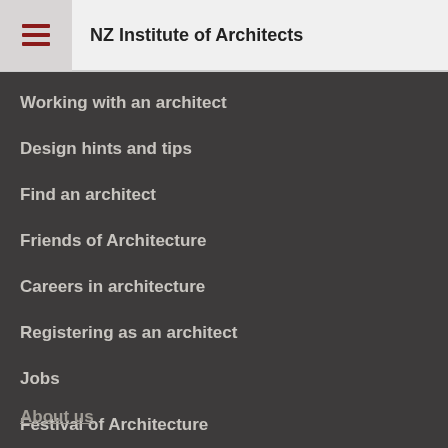NZ Institute of Architects
Working with an architect
Design hints and tips
Find an architect
Friends of Architecture
Careers in architecture
Registering as an architect
Jobs
Festival of Architecture
About us